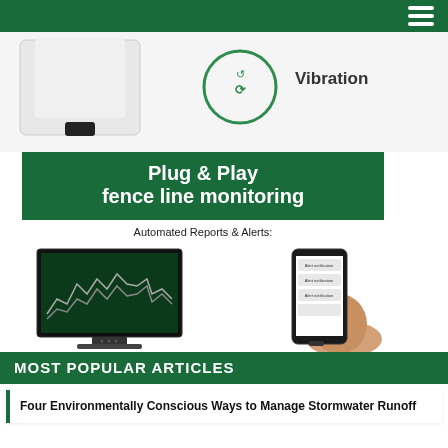[Figure (photo): Green navigation bar with hamburger menu icon at top right]
[Figure (photo): Product image: white monitoring device on left, green circular logo with arrows and 'Vibration' text on right, on white background]
[Figure (advertisement): Casella Solutions advertisement banner with dark green background reading 'Plug & Play fence line monitoring', 'Automated Reports & Alerts:', monitor showing data charts on left, hand holding smartphone with alerts on right, URL www.casellasolutions.com]
MOST POPULAR ARTICLES
Four Environmentally Conscious Ways to Manage Stormwater Runoff